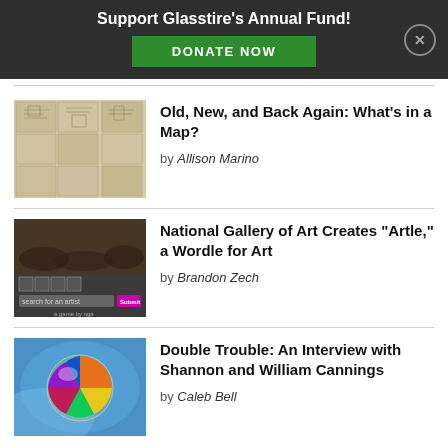Support Glasstire's Annual Fund! DONATE NOW
[Figure (photo): Thumbnail of historical maps collage, black and white engravings]
Old, New, and Back Again: What's in a Map?
by Allison Marino
[Figure (screenshot): Screenshot of Artle game interface by National Gallery of Art, showing a word-guessing game for art]
National Gallery of Art Creates "Artle," a Wordle for Art
by Brandon Zech
[Figure (photo): Colorful abstract globe or sphere with rainbow colors on blue background]
Double Trouble: An Interview with Shannon and William Cannings
by Caleb Bell